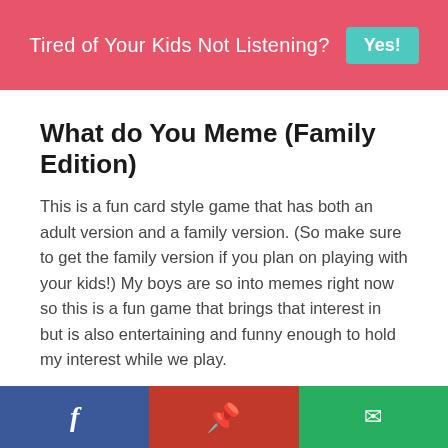Tired of Your Kids Not Listening? Yes!
What do You Meme (Family Edition)
This is a fun card style game that has both an adult version and a family version. (So make sure to get the family version if you plan on playing with your kids!) My boys are so into memes right now so this is a fun game that brings that interest in but is also entertaining and funny enough to hold my interest while we play.
Share buttons: Facebook, Pinterest, Email